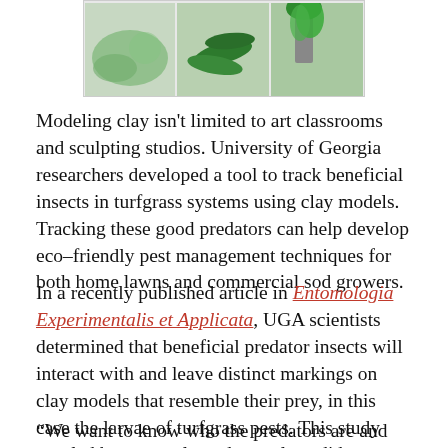[Figure (photo): Photo of green clay models resembling turfgrass pest larvae, shown in three panels side by side against a white background.]
Modeling clay isn't limited to art classrooms and sculpting studios. University of Georgia researchers developed a tool to track beneficial insects in turfgrass systems using clay models. Tracking these good predators can help develop eco-friendly pest management techniques for both home lawns and commercial sod growers.
In a recently published article in Entomologia Experimentalis et Applicata, UGA scientists determined that beneficial predator insects will interact with and leave distinct markings on clay models that resemble their prey, in this case the larvae of turfgrass pests. This study was led by entomology doctoral candidate Fawad Khan under the guidance of Assistant Professor Shimat Joseph in the College of Agricultural and Environmental Sciences on the UGA Griffin campus.
“We want to know who the predators are and what kind of